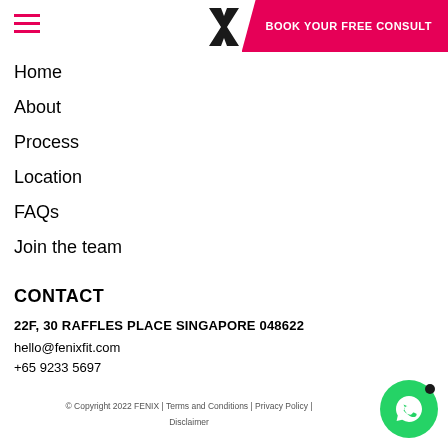BOOK YOUR FREE CONSULT
Home
About
Process
Location
FAQs
Join the team
CONTACT
22F, 30 RAFFLES PLACE SINGAPORE 048622
hello@fenixfit.com
+65 9233 5697
© Copyright 2022 FENIX | Terms and Conditions | Privacy Policy | Disclaimer
[Figure (logo): WhatsApp floating button icon (green circle with phone handset)]